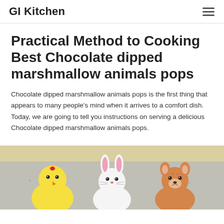GI Kitchen
Practical Method to Cooking Best Chocolate dipped marshmallow animals pops
Chocolate dipped marshmallow animals pops is the first thing that appears to many people's mind when it arrives to a comfort dish. Today, we are going to tell you instructions on serving a delicious Chocolate dipped marshmallow animals pops.
[Figure (photo): Photo of chocolate dipped marshmallow animal pops — a yellow chick, white bunny, and brown fox/deer — arranged on a gray speckled tray, partially cropped at bottom of page.]